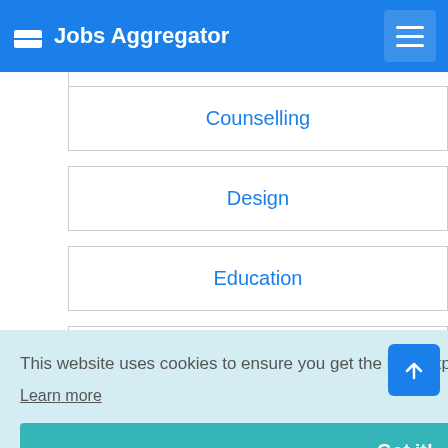Jobs Aggregator
Counselling
Design
Education
Engineering
This website uses cookies to ensure you get the best experience on our website. Learn more
Got it!